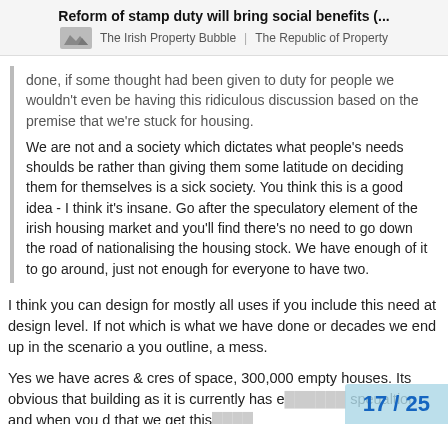Reform of stamp duty will bring social benefits (... | The Irish Property Bubble  The Republic of Property
done, if some thought had been given to duty for people we wouldn't even be having this ridiculous discussion based on the premise that we're stuck for housing.
We are not and a society which dictates what people's needs shoulds be rather than giving them some latitude on deciding them for themselves is a sick society. You think this is a good idea - I think it's insane. Go after the speculatory element of the irish housing market and you'll find there's no need to go down the road of nationalising the housing stock. We have enough of it to go around, just not enough for everyone to have two.
I think you can design for mostly all uses if you include this need at design level. If not which is what we have done or decades we end up in the scenario a you outline, a mess.
Yes we have acres & cres of space, 300,000 empty houses. Its obvious that building as it is currently has e speualtion and when you d that we get this
17 / 25